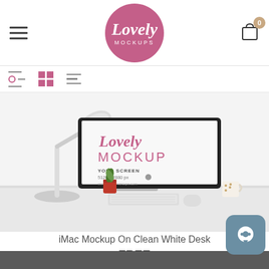Lovely Mockups — navigation header with hamburger menu, logo, and cart icon
[Figure (screenshot): Toolbar row with filter sliders icon, grid view icon (pink), and list view icon]
[Figure (photo): iMac mockup on a clean white desk with a white lamp, small succulent plant, red tin, and gold polka-dot mug. The iMac screen shows the Lovely Mockup branding text: YOUR SCREEN, 5120 x 2880 px, www.lovelymarcups.com]
iMac Mockup On Clean White Desk
FREE